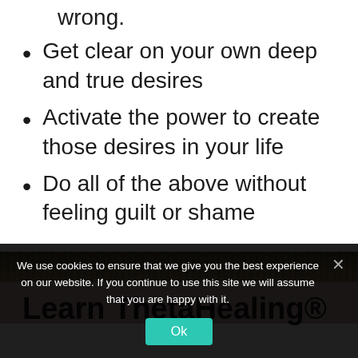wrong.
Get clear on your own deep and true desires
Activate the power to create those desires in your life
Do all of the above without feeling guilt or shame
[Figure (photo): Narrow horizontal strip of a nature/straw texture image]
Learn ThetaHealing®
We use cookies to ensure that we give you the best experience on our website. If you continue to use this site we will assume that you are happy with it.